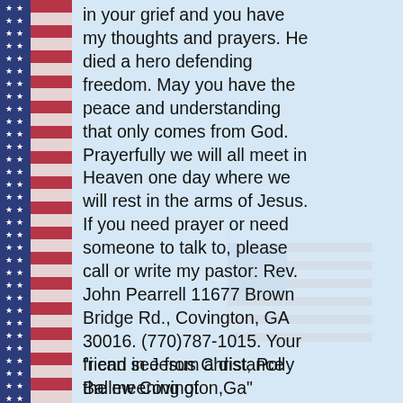[Figure (illustration): American flag stripe border on left side of page with blue canton with stars and alternating red and white stripes]
[Figure (illustration): Faded watermark American flag in lower right area of page]
in your grief and you have my thoughts and prayers. He died a hero defending freedom. May you have the peace and understanding that only comes from God. Prayerfully we will all meet in Heaven one day where we will rest in the arms of Jesus. If you need prayer or need someone to talk to, please call or write my pastor: Rev. John Pearrell 11677 Brown Bridge Rd., Covington, GA 30016. (770)787-1015. Your friend in Jesus Christ, Polly Ballew Covington,Ga"
"i can see from a distance the meening of sacrifice.Thank you America."